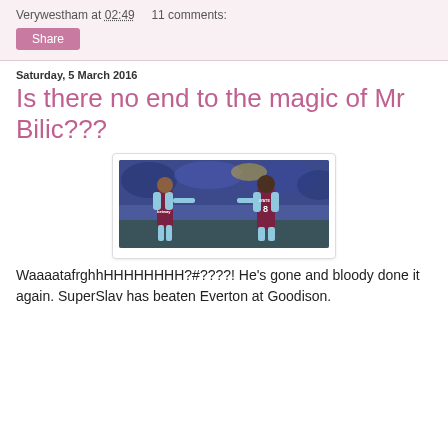Verywestham at 02:49   11 comments:
Share
Saturday, 5 March 2016
Is there no end to the magic of Mr Bilic???
[Figure (photo): Two West Ham United football players in claret and blue kits celebrating on a football pitch. The player on the right has KOUYATE 8 on his back. The background shows a stadium full of spectators.]
WaaaatafrghhHHHHHHHH?#????! He's gone and bloody done it again. SuperSlav has beaten Everton at Goodison.